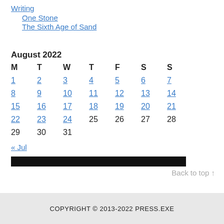Writing
One Stone
The Sixth Age of Sand
August 2022
| M | T | W | T | F | S | S |
| --- | --- | --- | --- | --- | --- | --- |
| 1 | 2 | 3 | 4 | 5 | 6 | 7 |
| 8 | 9 | 10 | 11 | 12 | 13 | 14 |
| 15 | 16 | 17 | 18 | 19 | 20 | 21 |
| 22 | 23 | 24 | 25 | 26 | 27 | 28 |
| 29 | 30 | 31 |  |  |  |  |
« Jul
Back to top ↑
COPYRIGHT © 2013-2022 PRESS.EXE